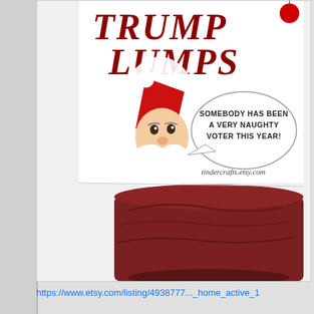[Figure (photo): A novelty product called 'Trump Lumps' — a package of coal/dark candy with a label featuring an angry Santa Claus illustration wearing a red hat with a speech bubble saying 'SOMEBODY HAS BEEN A VERY NAUGHTY VOTER THIS YEAR!' and the URL tindercrafts.etsy.com. The product name 'TRUMP LUMPS' is written in large decorative text at the top of the label.]
https://www.etsy.com/listing/4938777..._home_active_1